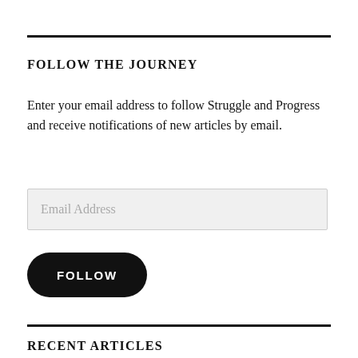FOLLOW THE JOURNEY
Enter your email address to follow Struggle and Progress and receive notifications of new articles by email.
Email Address
FOLLOW
RECENT ARTICLES